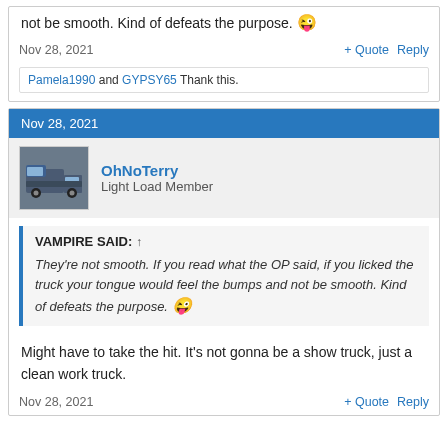not be smooth. Kind of defeats the purpose. 😜
Nov 28, 2021
+ Quote   Reply
Pamela1990 and GYPSY65 Thank this.
Nov 28, 2021
OhNoTerry
Light Load Member
VAMPIRE SAID: ↑
They're not smooth. If you read what the OP said, if you licked the truck your tongue would feel the bumps and not be smooth. Kind of defeats the purpose. 😜
Might have to take the hit. It's not gonna be a show truck, just a clean work truck.
Nov 28, 2021
+ Quote   Reply